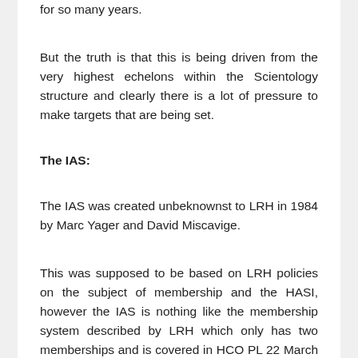for so many years.
But the truth is that this is being driven from the very highest echelons within the Scientology structure and clearly there is a lot of pressure to make targets that are being set.
The IAS:
The IAS was created unbeknownst to LRH in 1984 by Marc Yager and David Miscavige.
This was supposed to be based on LRH policies on the subject of membership and the HASI, however the IAS is nothing like the membership system described by LRH which only has two memberships and is covered in HCO PL 22 March 1965 “Current Promotion and Org Program Summary, Membership Rundown” and